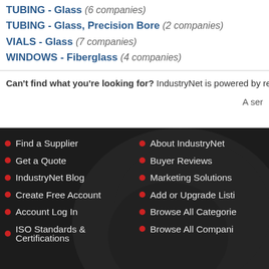TUBING - Glass (6 companies)
TUBING - Glass, Precision Bore (2 companies)
VIALS - Glass (7 companies)
WINDOWS - Fiberglass (4 companies)
Can't find what you're looking for? IndustryNet is powered by re
A ser
Find a Supplier
Get a Quote
IndustryNet Blog
Create Free Account
Account Log In
ISO Standards & Certifications
About IndustryNet
Buyer Reviews
Marketing Solutions
Add or Upgrade Listi
Browse All Categorie
Browse All Compani